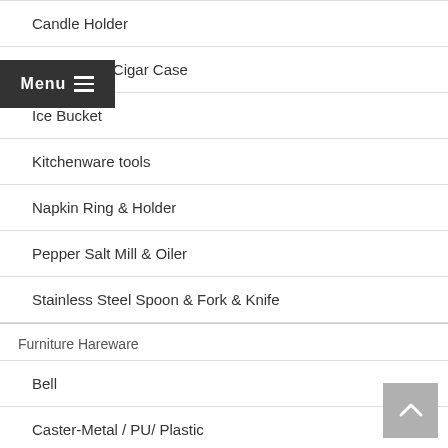Candle Holder
Hip Flask & Cigar Case
Ice Bucket
Kitchenware tools
Napkin Ring & Holder
Pepper Salt Mill & Oiler
Stainless Steel Spoon & Fork & Knife
Furniture Hareware
Bell
Caster-Metal / PU/ Plastic